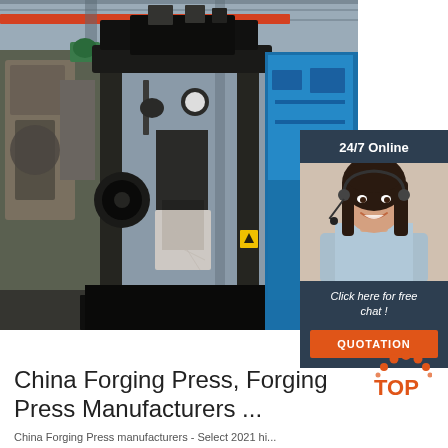[Figure (photo): Industrial forging press machine in a factory setting with a blue overhead crane beam and blue machinery in the background. A chat widget is overlaid on the right side showing a customer service representative with headset, '24/7 Online' header, 'Click here for free chat!' text, and 'QUOTATION' button.]
[Figure (logo): TOP logo — orange/red arc of dots above the word TOP in orange text]
China Forging Press, Forging Press Manufacturers ...
China Forging Press manufacturers - Select 2021 hi...